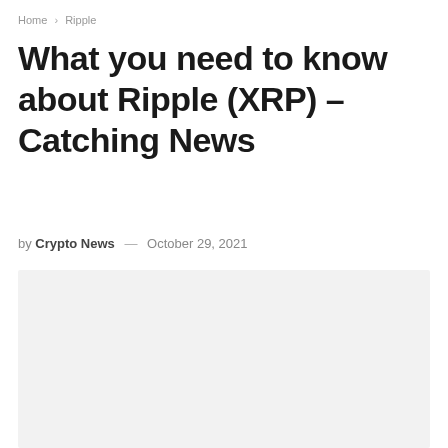Home > Ripple
What you need to know about Ripple (XRP) – Catching News
by Crypto News — October 29, 2021
[Figure (photo): Empty placeholder image area with light gray background]